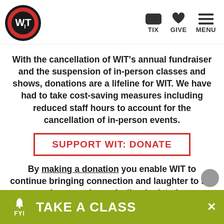[Figure (logo): WIT logo: black circle with red ring and white text WIT]
TIX   GIVE   MENU
With the cancellation of WIT’s annual fundraiser and the suspension of in-person classes and shows, donations are a lifeline for WIT. We have had to take cost-saving measures including reduced staff hours to account for the cancellation of in-person events.
SUPPORT WIT: DONATE
By making a donation you enable WIT to continue bringing connection and laughter to DC when people are feeling isolated.
FYI   TAKE A CLASS   ×